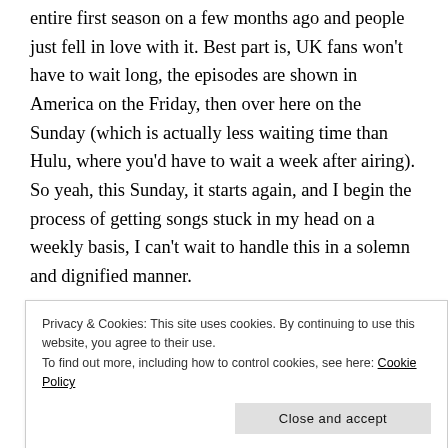entire first season on a few months ago and people just fell in love with it. Best part is, UK fans won't have to wait long, the episodes are shown in America on the Friday, then over here on the Sunday (which is actually less waiting time than Hulu, where you'd have to wait a week after airing). So yeah, this Sunday, it starts again, and I begin the process of getting songs stuck in my head on a weekly basis, I can't wait to handle this in a solemn and dignified manner.
[Figure (illustration): Partial image visible at bottom of page showing colorful cartoon/illustrated figures with pink and brown tones]
Privacy & Cookies: This site uses cookies. By continuing to use this website, you agree to their use. To find out more, including how to control cookies, see here: Cookie Policy
Close and accept